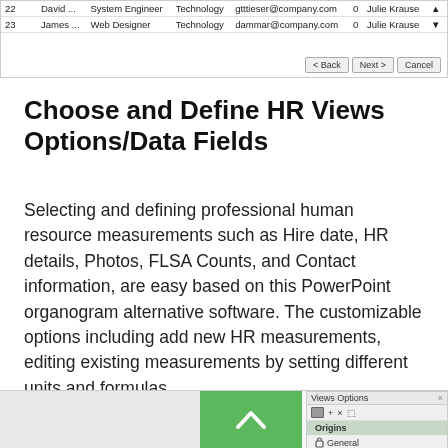[Figure (screenshot): Table showing employee list with rows for David (System Engineer, Technology, gtttieser@company.com, 0, Julie Krause) and James (Web Designer, Technology, dammar@company.com, 0, Julie Krause), with Back, Next, and Cancel buttons.]
Choose and Define HR Views Options/Data Fields
Selecting and defining professional human resource measurements such as Hire date, HR details, Photos, FLSA Counts, and Contact information, are easy based on this PowerPoint organogram alternative software. The customizable options including add new HR measurements, editing existing measurements by setting different units and formulas.
[Figure (screenshot): Bottom portion of HR Views Options interface showing a green panel with up arrow and a Views Options panel with toolbar icons, 'Origins' highlighted row, and 'General' option below.]